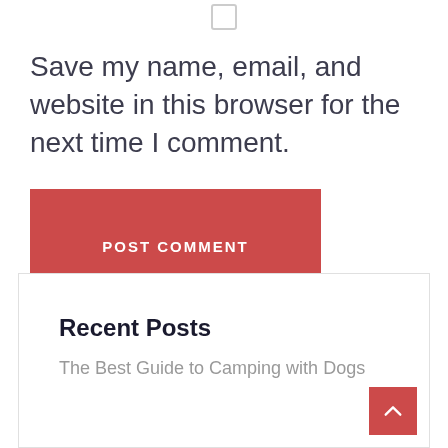[Figure (other): Checkbox icon at the top center of the page]
Save my name, email, and website in this browser for the next time I comment.
[Figure (other): Red POST COMMENT button]
Recent Posts
The Best Guide to Camping with Dogs
[Figure (other): Red back-to-top arrow button in bottom right corner]